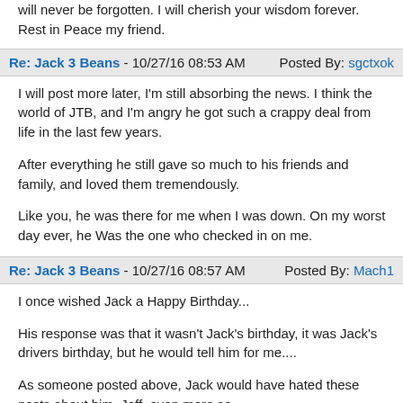will never be forgotten. I will cherish your wisdom forever. Rest in Peace my friend.
Re: Jack 3 Beans - 10/27/16 08:53 AM    Posted By: sgctxok
I will post more later, I'm still absorbing the news. I think the world of JTB, and I'm angry he got such a crappy deal from life in the last few years.

After everything he still gave so much to his friends and family, and loved them tremendously.

Like you, he was there for me when I was down. On my worst day ever, he Was the one who checked in on me.
Re: Jack 3 Beans - 10/27/16 08:57 AM    Posted By: Mach1
I once wished Jack a Happy Birthday...

His response was that it wasn't Jack's birthday, it was Jack's drivers birthday, but he would tell him for me....

As someone posted above, Jack would have hated these posts about him, Jeff, even more so...

Jeff told me that Jack was the man that he aspired to be. I think that many aspired to be like Jack. I would argue, however, that Jeff was